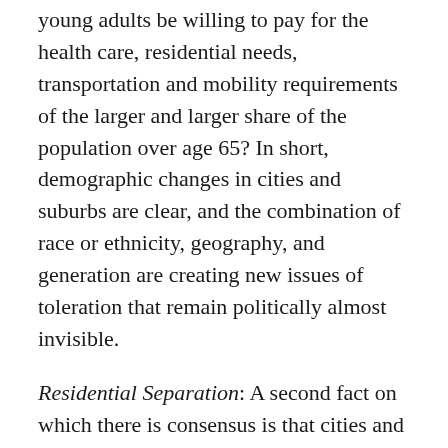young adults be willing to pay for the health care, residential needs, transportation and mobility requirements of the larger and larger share of the population over age 65? In short, demographic changes in cities and suburbs are clear, and the combination of race or ethnicity, geography, and generation are creating new issues of toleration that remain politically almost invisible.
Residential Separation: A second fact on which there is consensus is that cities and suburbs are less racially segregated than they were a few decades ago, at least by some measures (Glaeser and Vigdor 2012); (Frey 2010);(Population Studies Center 2010); (Iceland 2009). And researchers have